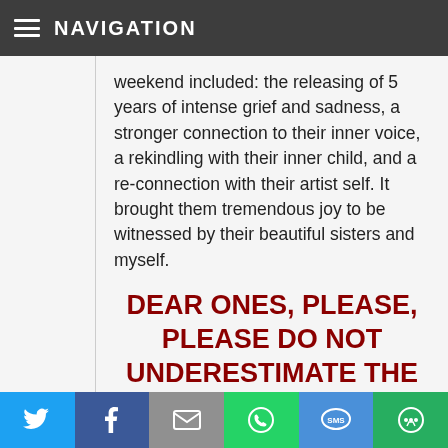NAVIGATION
weekend included: the releasing of 5 years of intense grief and sadness, a stronger connection to their inner voice, a rekindling with their inner child, and a re-connection with their artist self. It brought them tremendous joy to be witnessed by their beautiful sisters and myself.
DEAR ONES, PLEASE, PLEASE DO NOT UNDERESTIMATE THE POWER OF THE RED THREAD CEREMONY!